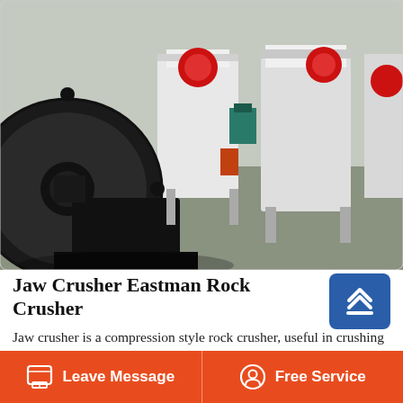[Figure (photo): Industrial jaw crushers in a factory/warehouse setting. Large black mechanical crusher in foreground, white jaw crusher machines in background with red accent markings.]
Jaw Crusher Eastman Rock Crusher
Jaw crusher is a compression style rock crusher, useful in crushing the medium-hard to very hard material into a smaller particle size at primary crushing stage in the crushing circuit. Applications mining, quarry, construction waste recycling, aggregate making, etc. Materials limestone, cobblestone, cobblestone, granite, basalt,
Leave Message   Free Service